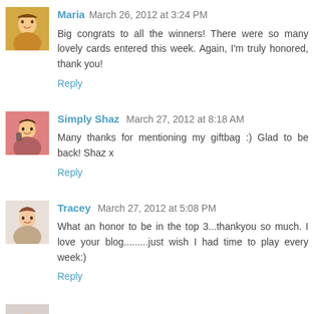Maria March 26, 2012 at 3:24 PM
Big congrats to all the winners! There were so many lovely cards entered this week. Again, I'm truly honored, thank you!
Reply
Simply Shaz March 27, 2012 at 8:18 AM
Many thanks for mentioning my giftbag :) Glad to be back! Shaz x
Reply
Tracey March 27, 2012 at 5:08 PM
What an honor to be in the top 3...thankyou so much. I love your blog.........just wish I had time to play every week:)
Reply
Amelia March 31, 2012 at 3:29 PM